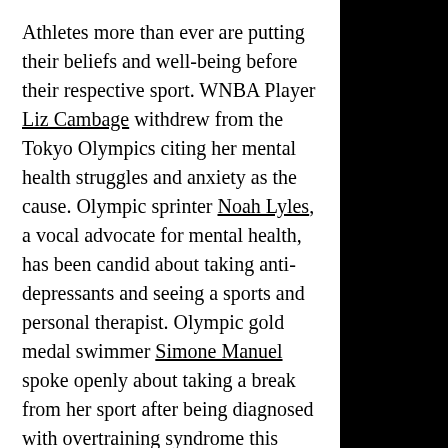Athletes more than ever are putting their beliefs and well-being before their respective sport. WNBA Player Liz Cambage withdrew from the Tokyo Olympics citing her mental health struggles and anxiety as the cause. Olympic sprinter Noah Lyles, a vocal advocate for mental health, has been candid about taking anti-depressants and seeing a sports and personal therapist. Olympic gold medal swimmer Simone Manuel spoke openly about taking a break from her sport after being diagnosed with overtraining syndrome this year, as she also suffers from depression, anxiety and insomnia. But it was gymnastics superstar Simone Biles who recently faced the dilemma of